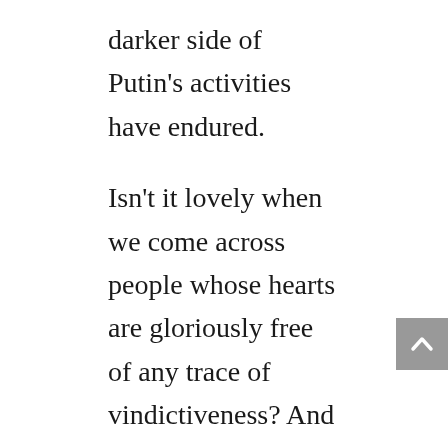darker side of Putin's activities have endured.
Isn't it lovely when we come across people whose hearts are gloriously free of any trace of vindictiveness? And how hard it is to endure the company of those who are heavily weighed down by it. The desire to get even, and to see someone (or some institution, team or even country) get its due comeuppance easily becomes all-consuming. There is a tension here to work through: on the one hand we know that God isn't just into justice, He is justice; and that His Mercy. And how all...